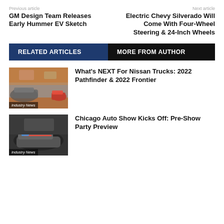Previous article | Next article
GM Design Team Releases Early Hummer EV Sketch
Electric Chevy Silverado Will Come With Four-Wheel Steering & 24-Inch Wheels
RELATED ARTICLES | MORE FROM AUTHOR
What's NEXT For Nissan Trucks: 2022 Pathfinder & 2022 Frontier
Chicago Auto Show Kicks Off: Pre-Show Party Preview